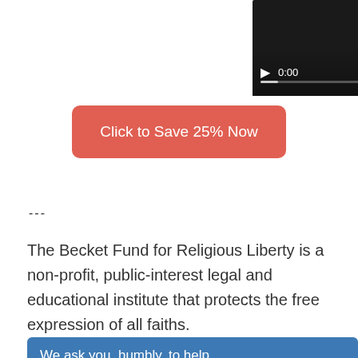[Figure (screenshot): Video player with dark background showing controls: play button, timestamp 0:00, volume icon, fullscreen icon, and more options icon, with a progress bar at the bottom.]
Click to Save 25% Now
---
The Becket Fund for Religious Liberty is a non-profit, public-interest legal and educational institute that protects the free expression of all faiths.
We ask you, humbly, to help.